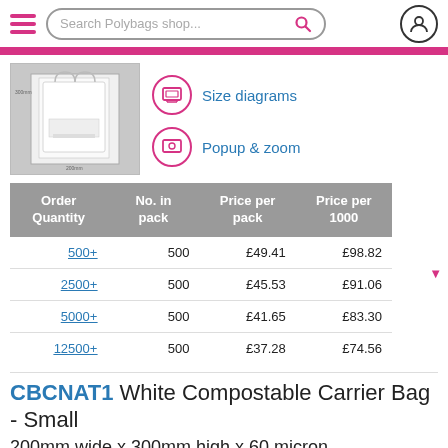Search Polybags shop...
[Figure (photo): White compostable carrier bag product photo showing 200mm wide x 300mm high dimensions]
Size diagrams
Popup & zoom
| Order Quantity | No. in pack | Price per pack | Price per 1000 |
| --- | --- | --- | --- |
| 500+ | 500 | £49.41 | £98.82 |
| 2500+ | 500 | £45.53 | £91.06 |
| 5000+ | 500 | £41.65 | £83.30 |
| 12500+ | 500 | £37.28 | £74.56 |
CBCNAT1 White Compostable Carrier Bag - Small
200mm wide x 300mm high x 60 micron